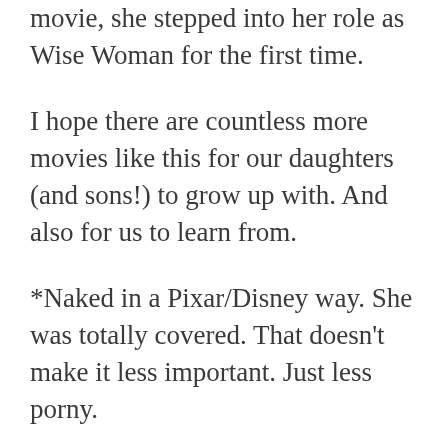movie, she stepped into her role as Wise Woman for the first time.
I hope there are countless more movies like this for our daughters (and sons!) to grow up with. And also for us to learn from.
*Naked in a Pixar/Disney way. She was totally covered. That doesn't make it less important. Just less porny.